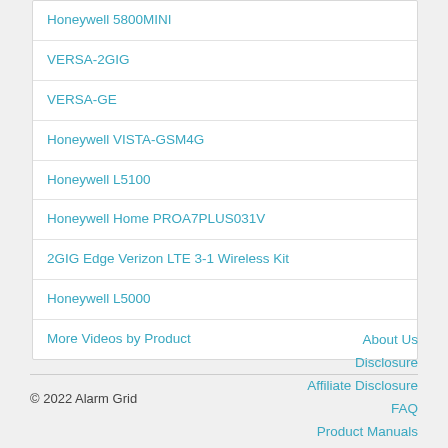Honeywell 5800MINI
VERSA-2GIG
VERSA-GE
Honeywell VISTA-GSM4G
Honeywell L5100
Honeywell Home PROA7PLUS031V
2GIG Edge Verizon LTE 3-1 Wireless Kit
Honeywell L5000
More Videos by Product
© 2022 Alarm Grid
About Us
Disclosure
Affiliate Disclosure
FAQ
Product Manuals